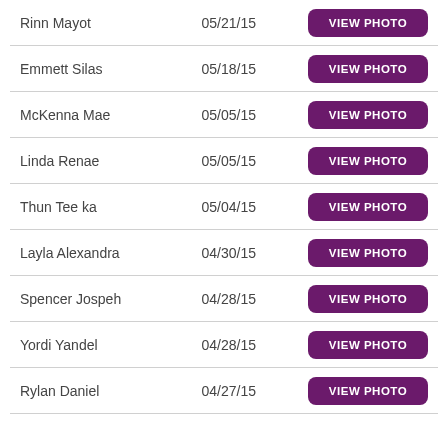Rinn Mayot | 05/21/15 | VIEW PHOTO
Emmett Silas | 05/18/15 | VIEW PHOTO
McKenna Mae | 05/05/15 | VIEW PHOTO
Linda Renae | 05/05/15 | VIEW PHOTO
Thun Tee ka | 05/04/15 | VIEW PHOTO
Layla Alexandra | 04/30/15 | VIEW PHOTO
Spencer Jospeh | 04/28/15 | VIEW PHOTO
Yordi Yandel | 04/28/15 | VIEW PHOTO
Rylan Daniel | 04/27/15 | VIEW PHOTO